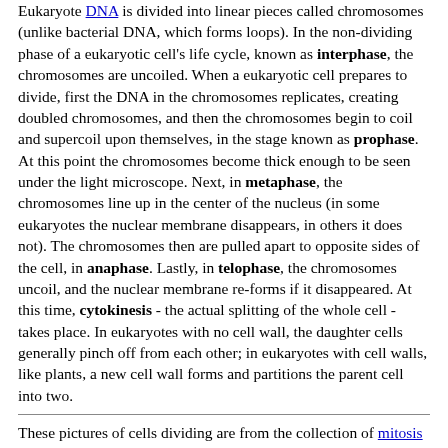Eukaryote DNA is divided into linear pieces called chromosomes (unlike bacterial DNA, which forms loops). In the non-dividing phase of a eukaryotic cell's life cycle, known as interphase, the chromosomes are uncoiled. When a eukaryotic cell prepares to divide, first the DNA in the chromosomes replicates, creating doubled chromosomes, and then the chromosomes begin to coil and supercoil upon themselves, in the stage known as prophase. At this point the chromosomes become thick enough to be seen under the light microscope. Next, in metaphase, the chromosomes line up in the center of the nucleus (in some eukaryotes the nuclear membrane disappears, in others it does not). The chromosomes then are pulled apart to opposite sides of the cell, in anaphase. Lastly, in telophase, the chromosomes uncoil, and the nuclear membrane re-forms if it disappeared. At this time, cytokinesis - the actual splitting of the whole cell - takes place. In eukaryotes with no cell wall, the daughter cells generally pinch off from each other; in eukaryotes with cell walls, like plants, a new cell wall forms and partitions the parent cell into two.
These pictures of cells dividing are from the collection of mitosis images available through the University of Wisconsin.